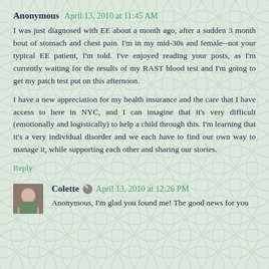Anonymous  April 13, 2010 at 11:45 AM
I was just diagnosed with EE about a month ago, after a sudden 3 month bout of stomach and chest pain. I'm in my mid-30s and female--not your typical EE patient, I'm told. I've enjoyed reading your posts, as I'm currently waiting for the results of my RAST blood test and I'm going to get my patch test put on this afternoon.
I have a new appreciation for my health insurance and the care that I have access to here in NYC, and I can imagine that it's very difficult (emotionally and logistically) to help a child through this. I'm learning that it's a very individual disorder and we each have to find our own way to manage it, while supporting each other and sharing our stories.
Reply
Colette  April 13, 2010 at 12:26 PM
Anonymous, I'm glad you found me! The good news for you